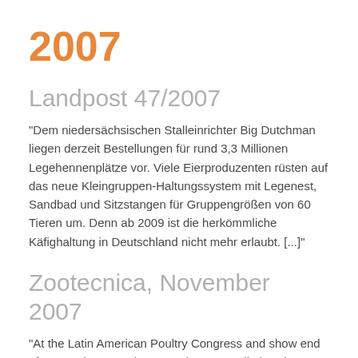2007
Landpost 47/2007
"Dem niedersächsischen Stalleinrichter Big Dutchman liegen derzeit Bestellungen für rund 3,3 Millionen Legehennenplätze vor. Viele Eierproduzenten rüsten auf das neue Kleingruppen-Haltungssystem mit Legenest, Sandbad und Sitzstangen für Gruppengrößen von 60 Tieren um. Denn ab 2009 ist die herkömmliche Käfighaltung in Deutschland nicht mehr erlaubt. [...]"
Zootecnica, November 2007
"At the Latin American Poultry Congress and show end of September 2007 in Porto Alegre, Brazil, the Big Dutchman